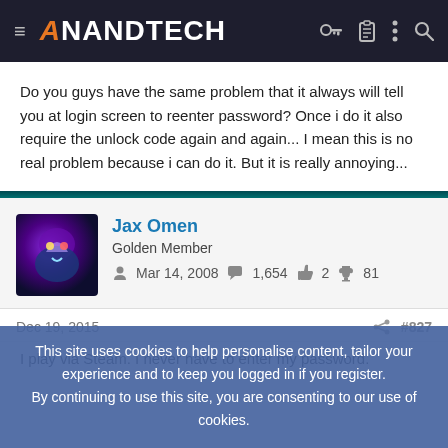AnandTech
Do you guys have the same problem that it always will tell you at login screen to reenter password? Once i do it also require the unlock code again and again... I mean this is no real problem because i can do it. But it is really annoying...
Jax Omen
Golden Member
Mar 14, 2008   1,654   2   81
Dec 19, 2015
#827
I play via Steam. I never have to enter my password.
This site uses cookies to help personalise content, tailor your experience and to keep you logged in if you register.
By continuing to use this site, you are consenting to our use of cookies.